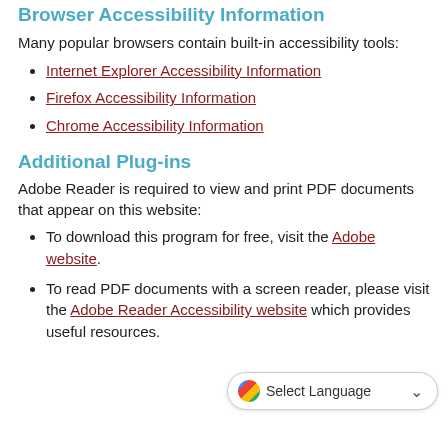Browser Accessibility Information
Many popular browsers contain built-in accessibility tools:
Internet Explorer Accessibility Information
Firefox Accessibility Information
Chrome Accessibility Information
Additional Plug-ins
Adobe Reader is required to view and print PDF documents that appear on this website:
To download this program for free, visit the Adobe website.
To read PDF documents with a screen reader, please visit the Adobe Reader Accessibility website which provides useful resources.